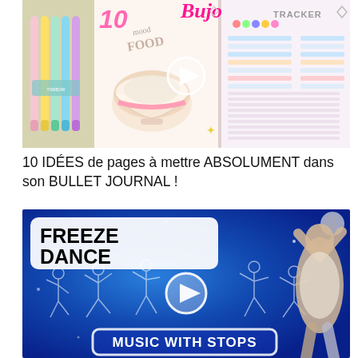[Figure (screenshot): Video thumbnail for a Bullet Journal video. Shows a colorful bullet journal spread with a bowl illustration, pens, and text: '10', 'Bujo', 'TRACKER', 'mood FOOD'. Has a play button overlay.]
10 IDÉES de pages à mettre ABSOLUMENT dans son BULLET JOURNAL !
[Figure (screenshot): Video thumbnail for 'FREEZE DANCE MUSIC WITH STOPS'. Blue background with dancing silhouettes, a woman dancing in the right, white box with 'FREEZE DANCE' in bold black, play button center, and 'MUSIC WITH STOPS' in white outlined box at bottom.]